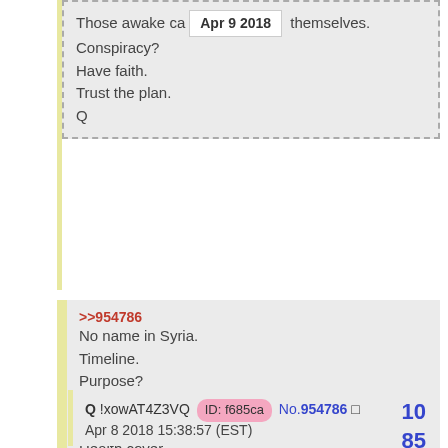Those awake ca[n see for] themselves.
Conspiracy?
Have faith.
Trust the plan.
Q
>>954786
No name in Syria.
Timeline.
Purpose?
Who attended?
No name panic.
Health cover.
Fast.
Q
Q !xowAT4Z3VQ  ID: f685ca  No.954786
Apr 8 2018 15:38:57 (EST)
10
85